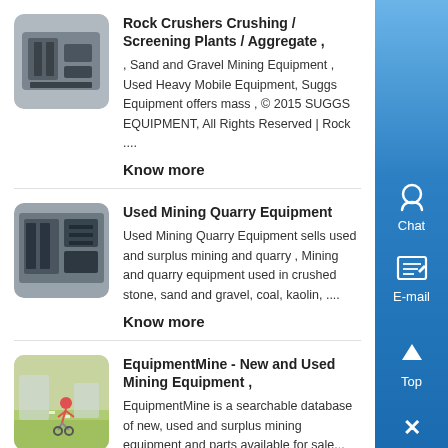[Figure (photo): Thumbnail of rock crusher industrial equipment]
Rock Crushers Crushing / Screening Plants / Aggregate ,

, Sand and Gravel Mining Equipment , Used Heavy Mobile Equipment, Suggs Equipment offers mass , © 2015 SUGGS EQUIPMENT, All Rights Reserved | Rock ....
Know more
[Figure (photo): Thumbnail of used mining quarry equipment]
Used Mining Quarry Equipment

Used Mining Quarry Equipment sells used and surplus mining and quarry , Mining and quarry equipment used in crushed stone, sand and gravel, coal, kaolin, ....
Know more
[Figure (photo): Thumbnail of person on bike in industrial/mining setting]
EquipmentMine - New and Used Mining Equipment ,

EquipmentMine is a searchable database of new, used and surplus mining equipment and parts available for sale...
Know more